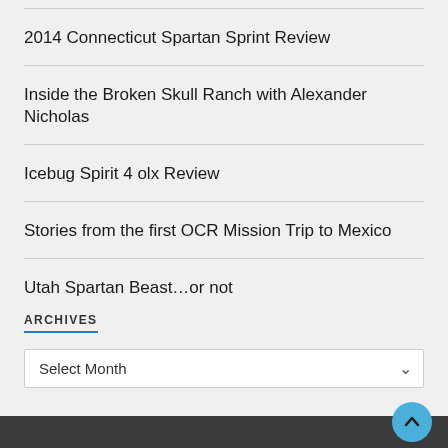2014 Connecticut Spartan Sprint Review
Inside the Broken Skull Ranch with Alexander Nicholas
Icebug Spirit 4 olx Review
Stories from the first OCR Mission Trip to Mexico
Utah Spartan Beast…or not
ARCHIVES
Select Month